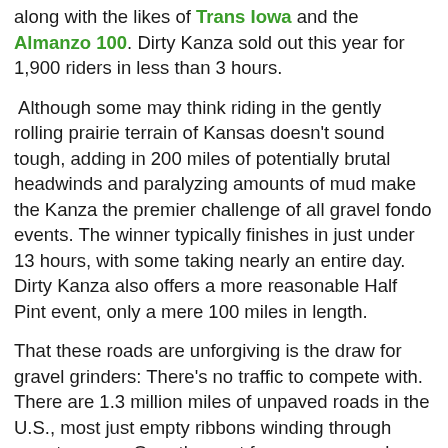along with the likes of Trans Iowa and the Almanzo 100. Dirty Kanza sold out this year for 1,900 riders in less than 3 hours.
Although some may think riding in the gently rolling prairie terrain of Kansas doesn't sound tough, adding in 200 miles of potentially brutal headwinds and paralyzing amounts of mud make the Kanza the premier challenge of all gravel fondo events. The winner typically finishes in just under 13 hours, with some taking nearly an entire day. Dirty Kanza also offers a more reasonable Half Pint event, only a mere 100 miles in length.
That these roads are unforgiving is the draw for gravel grinders: There's no traffic to compete with. There are 1.3 million miles of unpaved roads in the U.S., most just empty ribbons winding through remote areas. Over the past few years, gravel racers have begun appropriating them as a gritty new cycling frontier where there are no rules and no bureaucratic barriers (arranging for road closures, insurance, water stations, medics) to announcing a 60, 100, or even 200 mile rides.